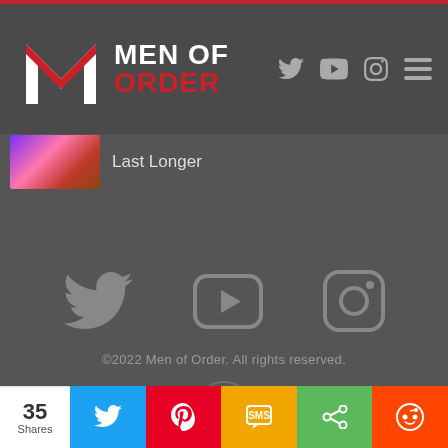[Figure (logo): Men of Order logo with M emblem and text MEN OF ORDER, with navigation icons for Twitter, YouTube, Instagram, and hamburger menu]
Last Longer
[Figure (illustration): Three social media icons: Twitter bird, YouTube play button, Instagram camera - displayed in gray on dark background]
©2022 Men of Order. All rights reserved.
[Figure (logo): Men of Order watermark logo with barbell/weights and M emblem, philfosterfitnesscom.com text circular]
[Figure (infographic): Social sharing bar with 35 Shares count and buttons for Twitter, Pinterest, SMS, Share, Reddit]